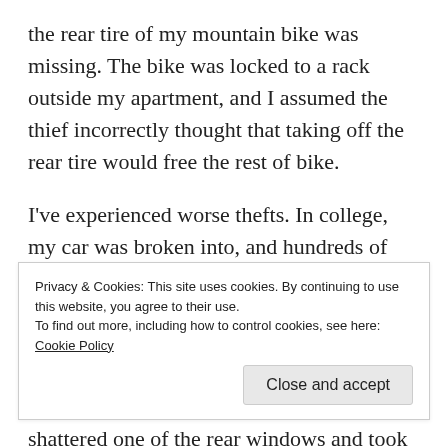the rear tire of my mountain bike was missing. The bike was locked to a rack outside my apartment, and I assumed the thief incorrectly thought that taking off the rear tire would free the rest of bike.
I've experienced worse thefts. In college, my car was broken into, and hundreds of CDs, expensive speakers and a CD player were stolen. Several years later, I made the mistake of leaving my work laptop in the backseat of my car overnight. An opportunistic passer-by armed with a brick shattered one of the rear windows and took the laptop, once again leaving me with a broken window...
Privacy & Cookies: This site uses cookies. By continuing to use this website, you agree to their use.
To find out more, including how to control cookies, see here: Cookie Policy
Close and accept